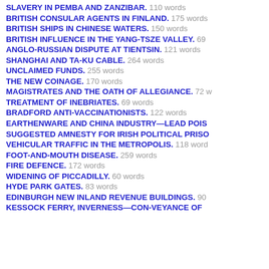SLAVERY IN PEMBA AND ZANZIBAR. 110 words
BRITISH CONSULAR AGENTS IN FINLAND. 175 words
BRITISH SHIPS IN CHINESE WATERS. 150 words
BRITISH INFLUENCE IN THE YANG-TSZE VALLEY. 69
ANGLO-RUSSIAN DISPUTE AT TIENTSIN. 121 words
SHANGHAI AND TA-KU CABLE. 264 words
UNCLAIMED FUNDS. 255 words
THE NEW COINAGE. 170 words
MAGISTRATES AND THE OATH OF ALLEGIANCE. 72 w
TREATMENT OF INEBRIATES. 69 words
BRADFORD ANTI-VACCINATIONISTS. 122 words
EARTHENWARE AND CHINA INDUSTRY—LEAD POIS
SUGGESTED AMNESTY FOR IRISH POLITICAL PRISO
VEHICULAR TRAFFIC IN THE METROPOLIS. 118 word
FOOT-AND-MOUTH DISEASE. 259 words
FIRE DEFENCE. 172 words
WIDENING OF PICCADILLY. 60 words
HYDE PARK GATES. 83 words
EDINBURGH NEW INLAND REVENUE BUILDINGS. 90
KESSOCK FERRY, INVERNESS—CON-VEYANCE OF